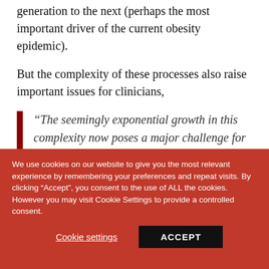generation to the next (perhaps the most important driver of the current obesity epidemic).
But the complexity of these processes also raise important issues for clinicians,
“The seemingly exponential growth in this complexity now poses a major challenge for translational researchers in need
We use cookies on our website to give you the most relevant experience by remembering your preferences and repeat visits. By clicking “Accept”, you consent to the use of ALL the cookies. However you may visit Cookie Settings to provide a controlled consent.